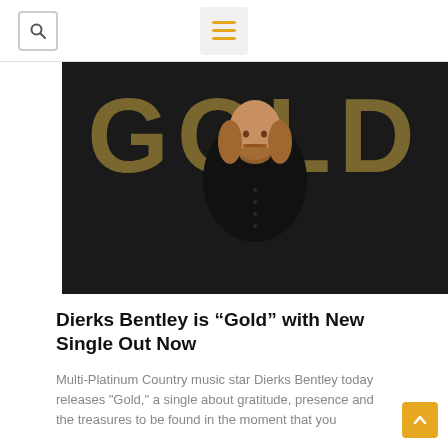Search and menu navigation bar
[Figure (photo): Dierks Bentley standing in front of large gold letters spelling GOLD on a dark background, wearing a black shirt]
Dierks Bentley is “Gold” with New Single Out Now
Multi-Platinum Country music star Dierks Bentley today releases "Gold," a single about gratitude, presence and the treasures to be found in the moment that you